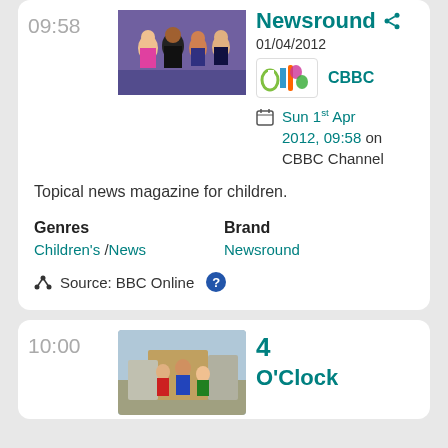09:58
[Figure (photo): Group photo of TV presenters on a colourful background]
Newsround
01/04/2012
[Figure (logo): CBBC channel logo]
CBBC
Sun 1st Apr 2012, 09:58 on CBBC Channel
Topical news magazine for children.
Genres
Children's / News
Brand
Newsround
Source: BBC Online ?
10:00
[Figure (photo): Group of people outside a house]
4
O'Clock